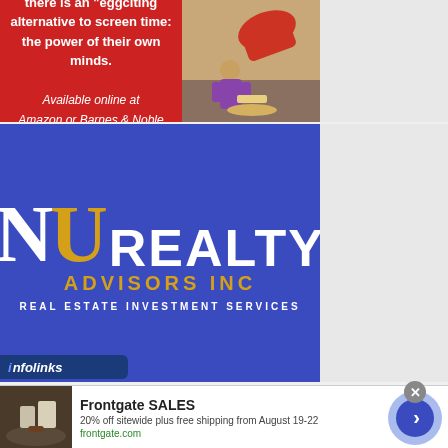[Figure (infographic): Red advertisement banner for a children's book. Text reads: 'there is an eggciting alternative to screen time: the power of their own minds. Available online at Amazon or Barnes & Noble'. Right side shows an illustration of a child cooking/baking.]
[Figure (logo): NU Realty Advisors Inc advertisement on blue background. Large white and gold NU logo letters with 'REALTY' in white, 'ADVISORS INC' in gold, and 'REAL ESTATE INVESTMENT SERVICES' in white smaller text.]
[Figure (infographic): Infolinks badge in dark blue at bottom left of realty ad.]
[Figure (infographic): Frontgate SALES ad banner at bottom. Shows outdoor furniture image on left, text 'Frontgate SALES - 20% off sitewide plus free shipping from August 19-22 - frontgate.com', blue circular arrow button on right. Close X button and Ad indicator visible.]